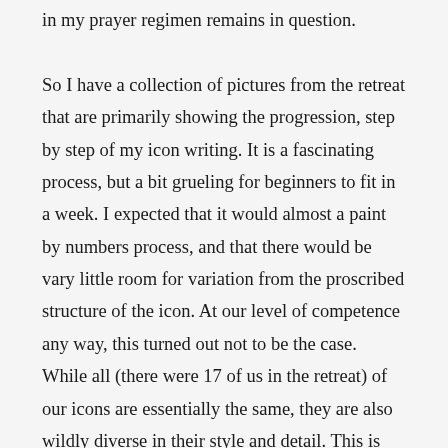in my prayer regimen remains in question.

So I have a collection of pictures from the retreat that are primarily showing the progression, step by step of my icon writing. It is a fascinating process, but a bit grueling for beginners to fit in a week. I expected that it would almost a paint by numbers process, and that there would be vary little room for variation from the proscribed structure of the icon. At our level of competence any way, this turned out not to be the case. While all (there were 17 of us in the retreat) of our icons are essentially the same, they are also wildly diverse in their style and detail. This is due to different levels of skill and experience in part, as some of us had never really done any painting before and some were 30-year art teachers. But it also was a product of choice and